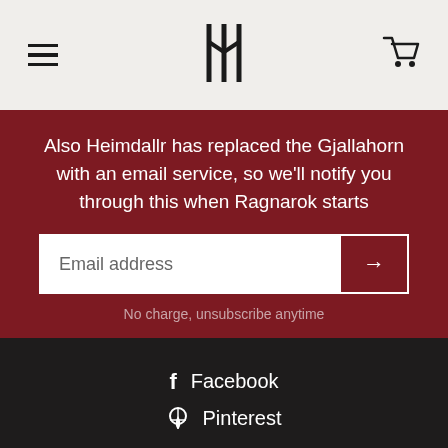[Figure (screenshot): Website header with hamburger menu icon on left, stylized logo in center, and shopping cart icon on right, on light gray background]
Also Heimdallr has replaced the Gjallahorn with an email service, so we'll notify you through this when Ragnarok starts
Email address
No charge, unsubscribe anytime
Facebook
Pinterest
SIZE   XS
+ ADD TO CART